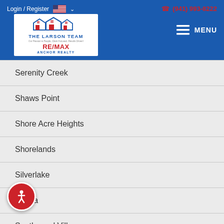Login / Register | (941) 993-8222 | THE LARSON TEAM RE/MAX ANCHOR REALTY | MENU
Serenity Creek
Shaws Point
Shore Acre Heights
Shorelands
Silverlake
Solera
Southwood Village
Spanish Park